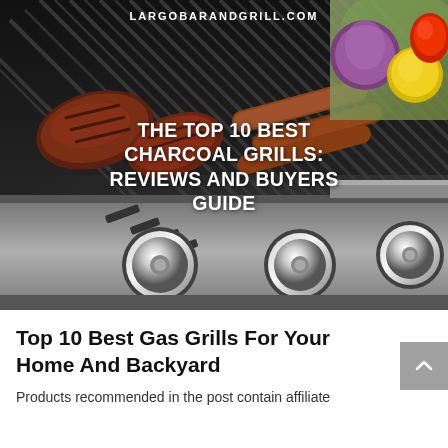[Figure (photo): A gas grill with steaks and sausages cooking on the grates, with colorful vegetables (onion, lemon, peppers) in the upper right corner. The grill has chrome knobs visible at the bottom. Overlaid text reads LARGOBARANDGRILL.COM at the top and THE TOP 10 BEST CHARCOAL GRILLS: REVIEWS AND BUYERS GUIDE in the center.]
LARGOBARANDGRILL.COM
THE TOP 10 BEST CHARCOAL GRILLS: REVIEWS AND BUYERS GUIDE
Top 10 Best Gas Grills For Your Home And Backyard
Products recommended in the post contain affiliate